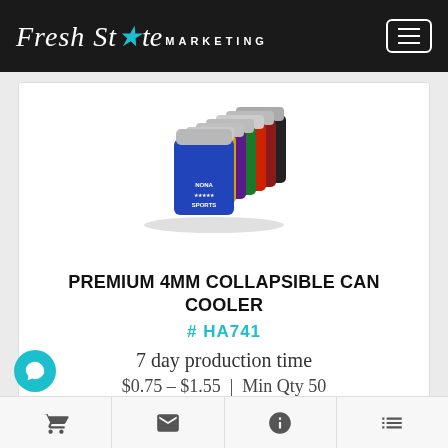Fresh State MARKETING
[Figure (photo): Multiple collapsible can coolers/koozies in various colors (blue, red, green, purple, yellow, gray, black) stacked together. The front one is royal blue with 'NONA SPORTS' logo printed on it.]
PREMIUM 4MM COLLAPSIBLE CAN COOLER
# HA741
7 day production time
$0.75 – $1.55 | Min Qty 50